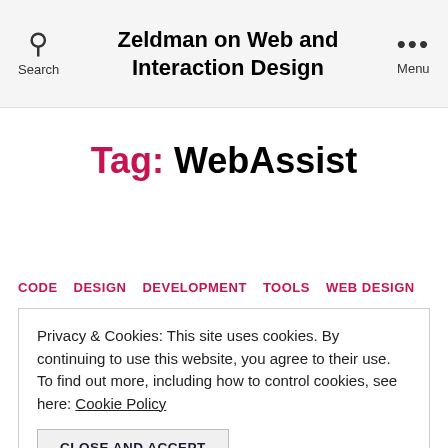Zeldman on Web and Interaction Design
Tag: WebAssist
CODE  DESIGN  DEVELOPMENT  TOOLS  WEB DESIGN
Privacy & Cookies: This site uses cookies. By continuing to use this website, you agree to their use.
To find out more, including how to control cookies, see here: Cookie Policy
CLOSE AND ACCEPT